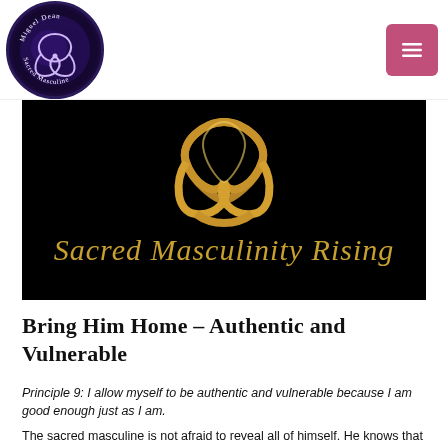[Figure (logo): Miguel Dean Sacred Masculine circular logo with triquetra symbol on dark purple/blue background]
[Figure (illustration): Black banner with golden triquetra Celtic knot symbol above the text 'Sacred Masculinity Rising' in gold italic script]
Bring Him Home – Authentic and Vulnerable
Principle 9: I allow myself to be authentic and vulnerable because I am good enough just as I am.
The sacred masculine is not afraid to reveal all of himself. He knows that he is perfect in his imperfection and that it is human to